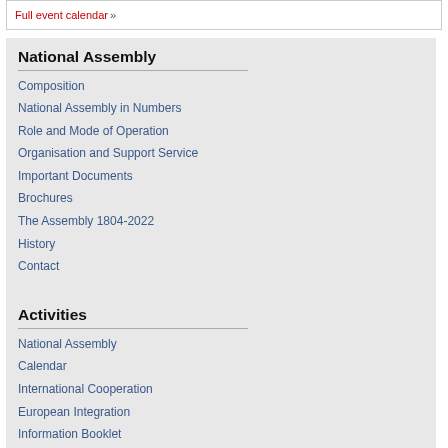Full event calendar »
National Assembly
Composition
National Assembly in Numbers
Role and Mode of Operation
Organisation and Support Service
Important Documents
Brochures
The Assembly 1804-2022
History
Contact
Activities
National Assembly
Calendar
International Cooperation
European Integration
Information Booklet
Photo and video